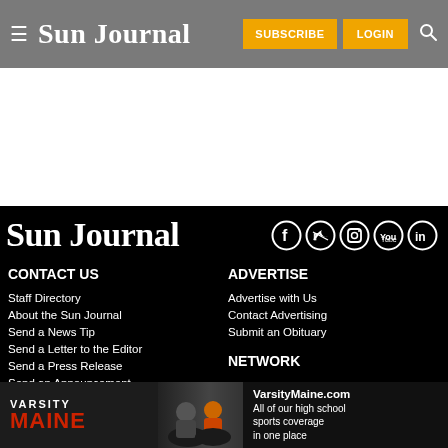Sun Journal — SUBSCRIBE  LOGIN
[Figure (screenshot): White content area / advertisement placeholder]
Sun Journal
[Figure (infographic): Social media icons: Facebook, Twitter, Instagram, YouTube, LinkedIn — white circle outlines on black background]
CONTACT US
Staff Directory
About the Sun Journal
Send a News Tip
Send a Letter to the Editor
Send a Press Release
Send an Announcement
ADVERTISE
Advertise with Us
Contact Advertising
Submit an Obituary
NETWORK
[Figure (infographic): VarsityMaine.com advertisement banner — VARSITY MAINE logo with football players photo, text: VarsityMaine.com All of our high school sports coverage in one place]